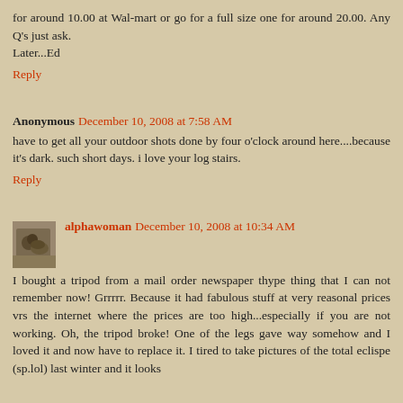for around 10.00 at Wal-mart or go for a full size one for around 20.00. Any Q's just ask.
Later...Ed
Reply
Anonymous December 10, 2008 at 7:58 AM
have to get all your outdoor shots done by four o'clock around here....because it's dark. such short days. i love your log stairs.
Reply
alphawoman December 10, 2008 at 10:34 AM
I bought a tripod from a mail order newspaper thype thing that I can not remember now! Grrrrr. Because it had fabulous stuff at very reasonal prices vrs the internet where the prices are too high...especially if you are not working. Oh, the tripod broke! One of the legs gave way somehow and I loved it and now have to replace it. I tired to take pictures of the total eclispe (sp.lol) last winter and it looks